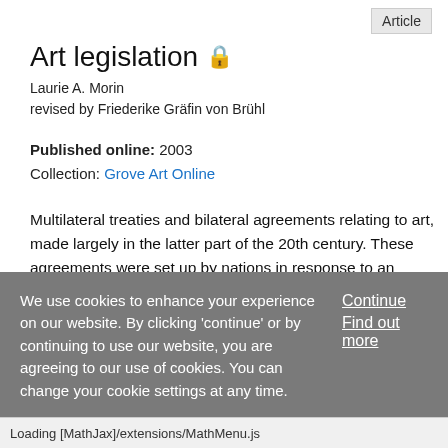Art legislation 🔒
Laurie A. Morin
revised by Friederike Gräfin von Brühl
Published online: 2003
Collection: Grove Art Online
Multilateral treaties and bilateral agreements relating to art, made largely in the latter part of the 20th century. These agreements were set up by nations in response to an unprecedented combination of political, economic, and technological changes affecting the art world, especially the tension between the demand for a free international art
We use cookies to enhance your experience on our website. By clicking 'continue' or by continuing to use our website, you are agreeing to our use of cookies. You can change your cookie settings at any time.
Loading [MathJax]/extensions/MathMenu.js